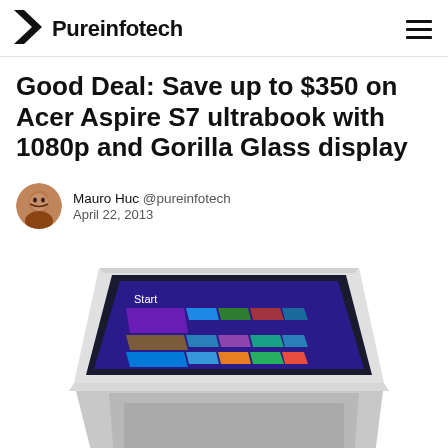Pureinfotech
Good Deal: Save up to $350 on Acer Aspire S7 ultrabook with 1080p and Gorilla Glass display
Mauro Huc @pureinfotech April 22, 2013
[Figure (photo): Acer Aspire S7 ultrabook laptop shown at an angle with Windows 8 Start screen displayed, silver/white chassis with keyboard visible]